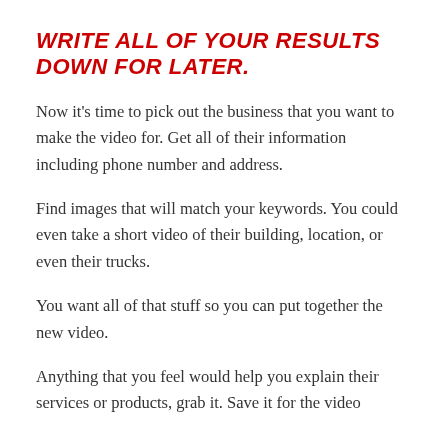WRITE ALL OF YOUR RESULTS DOWN FOR LATER.
Now it's time to pick out the business that you want to make the video for. Get all of their information including phone number and address.
Find images that will match your keywords. You could even take a short video of their building, location, or even their trucks.
You want all of that stuff so you can put together the new video.
Anything that you feel would help you explain their services or products, grab it. Save it for the video…